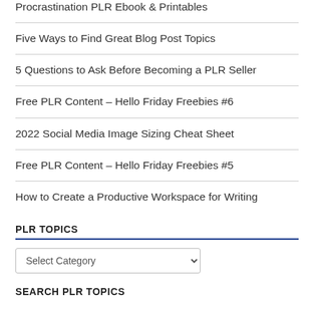Procrastination PLR Ebook & Printables
Five Ways to Find Great Blog Post Topics
5 Questions to Ask Before Becoming a PLR Seller
Free PLR Content – Hello Friday Freebies #6
2022 Social Media Image Sizing Cheat Sheet
Free PLR Content – Hello Friday Freebies #5
How to Create a Productive Workspace for Writing
PLR TOPICS
Select Category (dropdown)
SEARCH PLR TOPICS